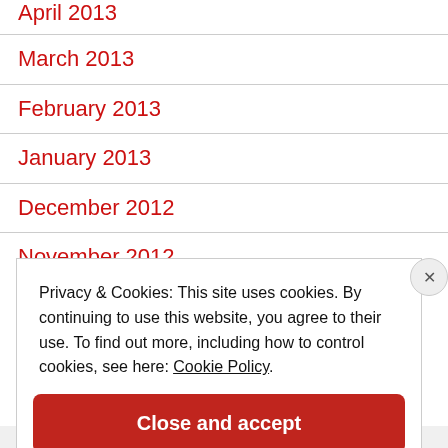April 2013
March 2013
February 2013
January 2013
December 2012
November 2012
Privacy & Cookies: This site uses cookies. By continuing to use this website, you agree to their use. To find out more, including how to control cookies, see here: Cookie Policy
Close and accept